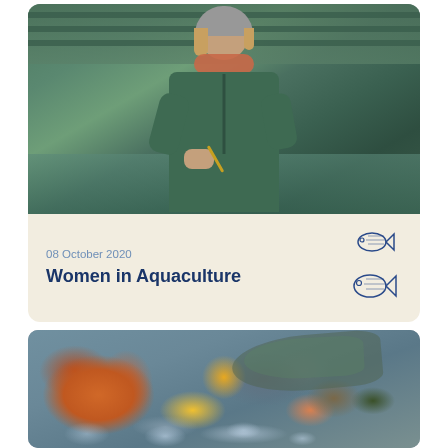[Figure (photo): Woman wearing a grey knit hat, orange scarf, and green jacket, writing with a pen outdoors near water tanks — an aquaculture worker.]
08 October 2020
Women in Aquaculture
[Figure (illustration): Small hand-drawn illustration of two fish stacked vertically, outlined in blue.]
[Figure (photo): Assorted fresh seafood on ice including lobster, salmon, sea bass, dorade, mussels, shrimp, and a lemon.]